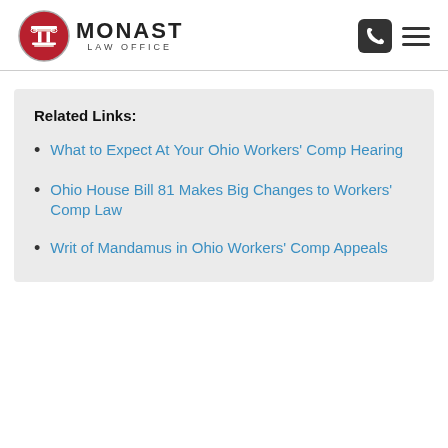[Figure (logo): Monast Law Office logo with column icon in red circle and bold text MONAST LAW OFFICE]
What to Expect At Your Ohio Workers' Comp Hearing
Ohio House Bill 81 Makes Big Changes to Workers' Comp Law
Writ of Mandamus in Ohio Workers' Comp Appeals